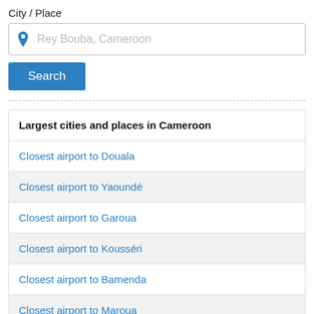City / Place
[Figure (screenshot): Search input box with location pin icon and placeholder text 'Rey Bouba, Cameroon']
[Figure (screenshot): Blue 'Search' button]
Largest cities and places in Cameroon
Closest airport to Douala
Closest airport to Yaoundé
Closest airport to Garoua
Closest airport to Kousséri
Closest airport to Bamenda
Closest airport to Maroua